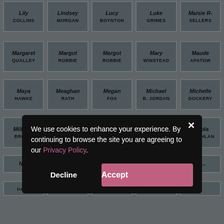[Figure (screenshot): Grid of actor name cards on a grey background. Each card shows a first name in italic bold and a surname in small caps bold. Visible cards include: Lily COLLINS, Lindsey MORGAN, Lucy BOYNTON, Luke GRIMES, Maisie R-SELLERS, Margaret QUALLEY, Margot ROBBIE, Margot ROBBIE, Mary WINSTEAD, Maude APATOW, Maya HAWKE, Meaghan RATH, Megan FOX, Michael B. JORDAN, Michelle DOCKERY, Millie B. BROWN, MJ RODRIGUEZ, Natalie DORMER, Neve CAMPBELL, Nicola COUGHLAN, and partially visible rows below.]
We use cookies to enhance your experience. By continuing to browse the site you are agreeing to our Privacy Policy.
Decline
Accept